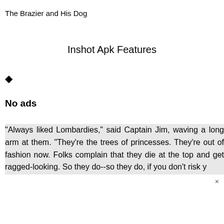The Brazier and His Dog
Inshot Apk Features
◆
No ads
"Always liked Lombardies," said Captain Jim, waving a long arm at them. "They're the trees of princesses. They're out of fashion now. Folks complain that they die at the top and get ragged-looking. So they do--so they do, if you don't risk y